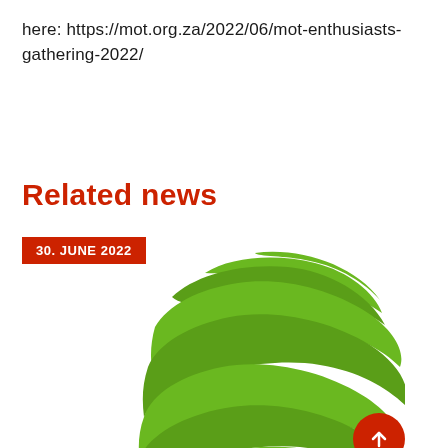here: https://mot.org.za/2022/06/mot-enthusiasts-gathering-2022/
Related news
30. JUNE 2022
[Figure (logo): Green spiral globe logo made of layered ribbon-like stripes forming a sphere, with a red circular scroll-to-top button in the bottom right corner]